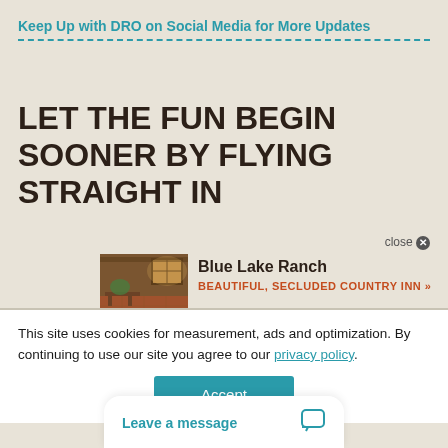Keep Up with DRO on Social Media for More Updates
LET THE FUN BEGIN SOONER BY FLYING STRAIGHT IN
[Figure (other): Ad popup showing Blue Lake Ranch with an interior photo of a rustic lodge room, close button, title 'Blue Lake Ranch' and subtitle 'BEAUTIFUL, SECLUDED COUNTRY INN »']
This site uses cookies for measurement, ads and optimization. By continuing to use our site you agree to our privacy policy.
Accept
Leave a message